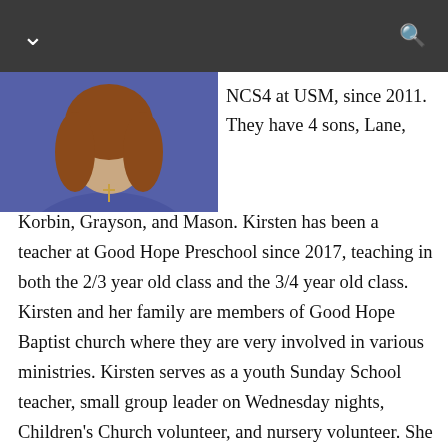[Figure (photo): Photo of a woman with long brown hair wearing a blue top and a cross necklace, cropped at the top portion of the image.]
NCS4 at USM, since 2011. They have 4 sons, Lane, Korbin, Grayson, and Mason. Kirsten has been a teacher at Good Hope Preschool since 2017, teaching in both the 2/3 year old class and the 3/4 year old class. Kirsten and her family are members of Good Hope Baptist church where they are very involved in various ministries. Kirsten serves as a youth Sunday School teacher, small group leader on Wednesday nights, Children's Church volunteer, and nursery volunteer. She has also planned and organized Good Hope's Fall Festival since 2019. Kirsten enjoys spending time with her family, supporting her boys in all of their various activities and endeavors, shopping, and planning for Halloween and